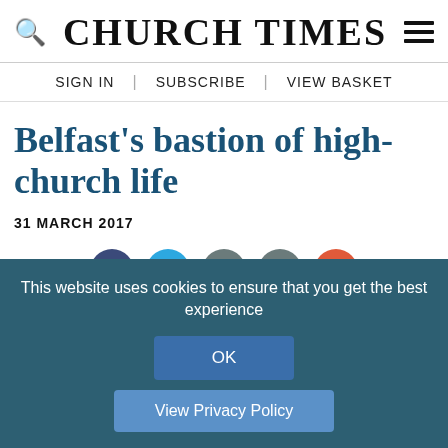CHURCH TIMES
SIGN IN | SUBSCRIBE | VIEW BASKET
Belfast's bastion of high-church life
31 MARCH 2017
[Figure (other): Social sharing icons: Facebook, Twitter, Print, Email, More]
Nicholas Frayling on St George's and its worship,
This website uses cookies to ensure that you get the best experience
OK
View Privacy Policy